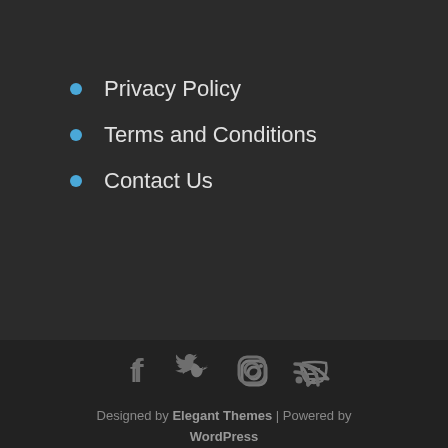Privacy Policy
Terms and Conditions
Contact Us
[Figure (infographic): Social media icons: Facebook, Twitter, Instagram, RSS feed]
Designed by Elegant Themes | Powered by WordPress